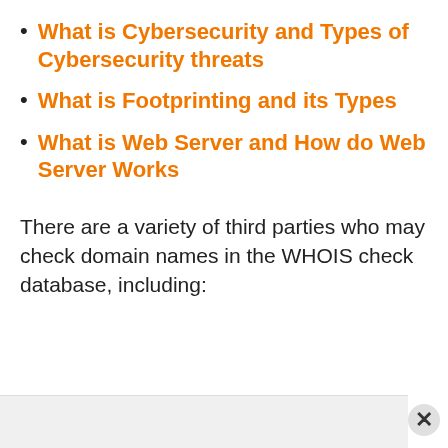What is Cybersecurity and Types of Cybersecurity threats
What is Footprinting and its Types
What is Web Server and How do Web Server Works
There are a variety of third parties who may check domain names in the WHOIS check database, including: